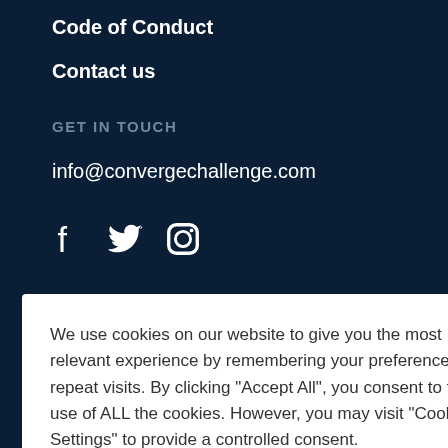Code of Conduct
Contact us
GET IN TOUCH
info@convergechallenge.com
[Figure (illustration): Social media icons: Facebook, Twitter, Instagram in white]
We use cookies on our website to give you the most relevant experience by remembering your preferences and repeat visits. By clicking “Accept All”, you consent to the use of ALL the cookies. However, you may visit “Cookie Settings” to provide a controlled consent.
Cookie Settings | Accept All